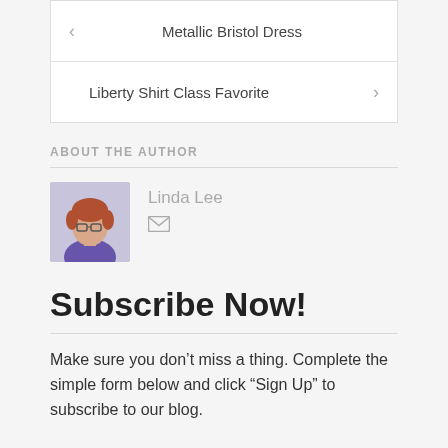< Metallic Bristol Dress
Liberty Shirt Class Favorite >
ABOUT THE AUTHOR
[Figure (photo): Headshot photo of Linda Lee, a woman with short reddish-brown hair wearing a purple shirt]
Linda Lee
[Figure (illustration): Envelope/mail icon]
Subscribe Now!
Make sure you don’t miss a thing. Complete the simple form below and click “Sign Up” to subscribe to our blog.